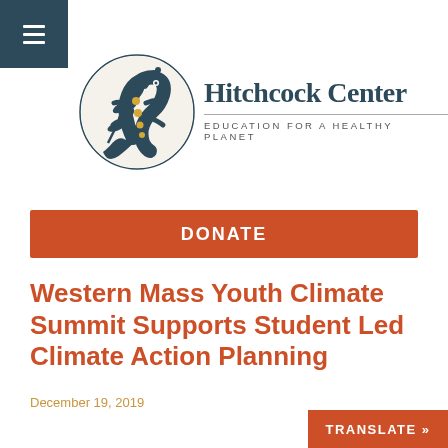[Figure (logo): Hitchcock Center logo with salamander surrounded by plants and leaves, dark teal and gold colors]
Hitchcock Center
EDUCATION FOR A HEALTHY PLANET
DONATE
Western Mass Youth Climate Summit Supports Student Led Climate Action Planning
December 19, 2019
TRANSLATE »